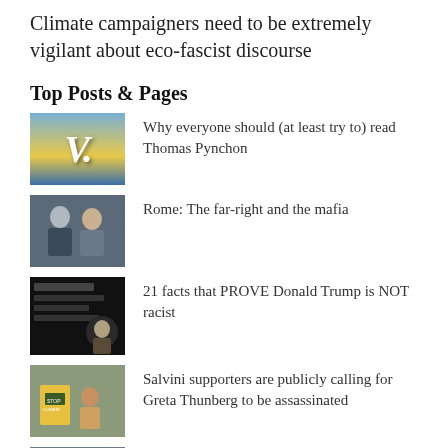Climate campaigners need to be extremely vigilant about eco-fascist discourse
Top Posts & Pages
Why everyone should (at least try to) read Thomas Pynchon
Rome: The far-right and the mafia
21 facts that PROVE Donald Trump is NOT racist
Salvini supporters are publicly calling for Greta Thunberg to be assassinated
Corbyn, Climate Change and the British media